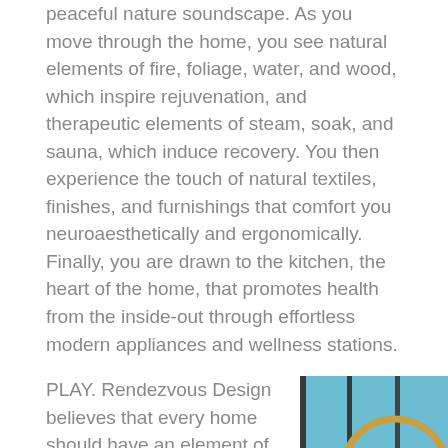peaceful nature soundscape. As you move through the home, you see natural elements of fire, foliage, water, and wood, which inspire rejuvenation, and therapeutic elements of steam, soak, and sauna, which induce recovery. You then experience the touch of natural textiles, finishes, and furnishings that comfort you neuroaesthetically and ergonomically. Finally, you are drawn to the kitchen, the heart of the home, that promotes health from the inside-out through effortless modern appliances and wellness stations.
PLAY. Rendezvous Design believes that every home should have an element of play. Kennedy's preferred element is a swing in
[Figure (photo): Photo of a woman with blonde hair standing in front of a large circular gold-framed mirror, with floor-to-ceiling windows behind showing a blue sky and mountains. A teal scroll-to-top button overlays the bottom right of the image.]